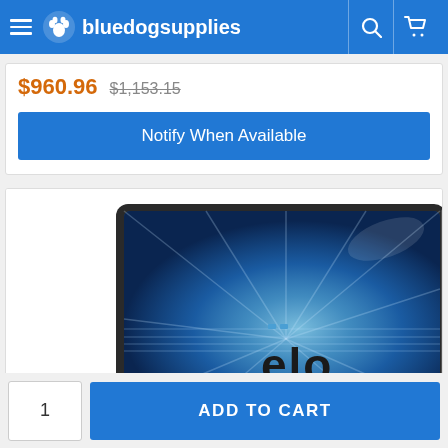bluedogsupplies
$960.96 $1,153.15
Notify When Available
[Figure (photo): Elo touch monitor product photo showing a sleek widescreen display with the Elo logo on a blue background]
ADD TO CART